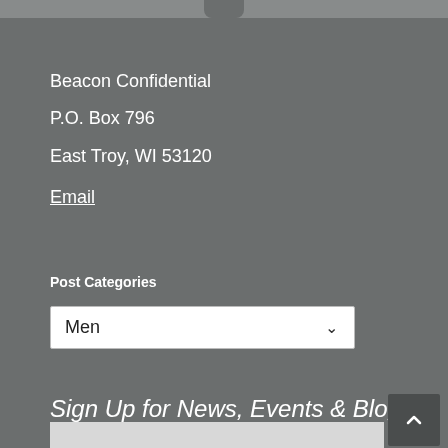Beacon Confidential
P.O. Box 796
East Troy, WI  53120
Email
Post Categories
Men
Sign Up for News, Events & Blog Posts
Name